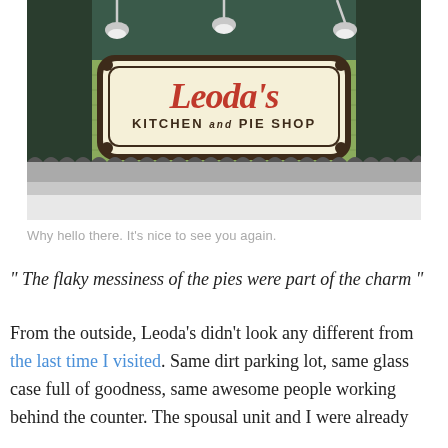[Figure (photo): Exterior photo of Leoda's Kitchen and Pie Shop sign. A decorative cream-colored sign with a dark border and ornate frame reads 'Leoda's' in red cursive script, with 'KITCHEN and PIE SHOP' in smaller dark text below. The sign is mounted on a dark green wall with pendant lights visible above. A roofline with decorative scalloped edging is visible at the bottom.]
Why hello there. It's nice to see you again.
" The flaky messiness of the pies were part of the charm "
From the outside, Leoda's didn't look any different from the last time I visited. Same dirt parking lot, same glass case full of goodness, same awesome people working behind the counter. The spousal unit and I were already